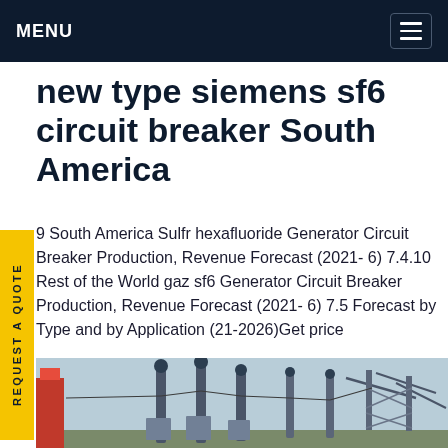MENU
new type siemens sf6 circuit breaker South America
9 South America Sulfr hexafluoride Generator Circuit Breaker Production, Revenue Forecast (2021-6) 7.4.10 Rest of the World gaz sf6 Generator Circuit Breaker Production, Revenue Forecast (2021-6) 7.5 Forecast by Type and by Application (21-2026)Get price
[Figure (photo): Industrial electrical substation with tall circuit breaker poles and metal framework structures against a light sky background.]